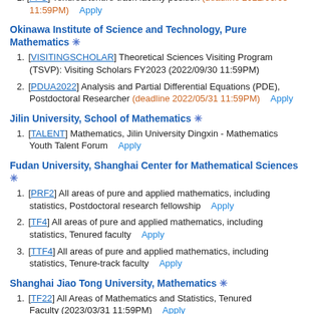1. [FFO] Tenured/tenure-track faculty position (deadline 2022/06/03 11:59PM)   Apply
Okinawa Institute of Science and Technology, Pure Mathematics ✳
1. [VISITINGSCHOLAR] Theoretical Sciences Visiting Program (TSVP): Visiting Scholars FY2023 (2022/09/30 11:59PM)
2. [PDUA2022] Analysis and Partial Differential Equations (PDE), Postdoctoral Researcher (deadline 2022/05/31 11:59PM)   Apply
Jilin University, School of Mathematics ✳
1. [TALENT] Mathematics, Jilin University Dingxin - Mathematics Youth Talent Forum   Apply
Fudan University, Shanghai Center for Mathematical Sciences ✳
1. [PRF2] All areas of pure and applied mathematics, including statistics, Postdoctoral research fellowship   Apply
2. [TF4] All areas of pure and applied mathematics, including statistics, Tenured faculty   Apply
3. [TTF4] All areas of pure and applied mathematics, including statistics, Tenure-track faculty   Apply
Shanghai Jiao Tong University, Mathematics ✳
1. [TF22] All Areas of Mathematics and Statistics, Tenured Faculty (2023/03/31 11:59PM)   Apply
2. [TTFPA22] Pure and Applied Mathematics, Tenure-Track Associate Professor (2023/03/31 11:59PM)   Apply